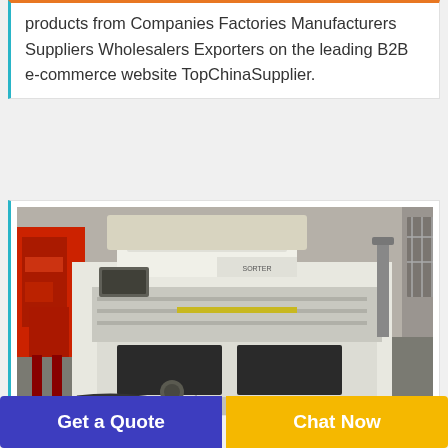products from Companies Factories Manufacturers Suppliers Wholesalers Exporters on the leading B2B e-commerce website TopChinaSupplier.
[Figure (photo): A white industrial color sorting machine with conveyor and sorting trays photographed in a factory setting with a red machine partially visible on the left.]
Get a Quote
Chat Now